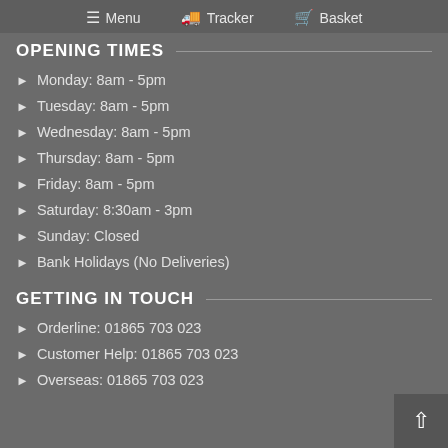Menu  Tracker  Basket
OPENING TIMES
Monday: 8am - 5pm
Tuesday: 8am - 5pm
Wednesday: 8am - 5pm
Thursday: 8am - 5pm
Friday: 8am - 5pm
Saturday: 8:30am - 3pm
Sunday: Closed
Bank Holidays (No Deliveries)
GETTING IN TOUCH
Orderline: 01865 703 023
Customer Help: 01865 703 023
Overseas: 01865 703 023